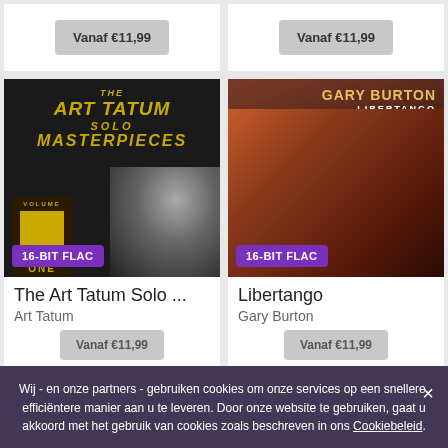Vanaf €11,99
Vanaf €11,99
[Figure (photo): Art Tatum Solo Masterpieces Volume One album cover - dark background with gold text and pianist photo]
16-BIT FLAC
[Figure (photo): Gary Burton Libertango album cover - tango dancers silhouette with warm reddish tones]
16-BIT FLAC
The Art Tatum Solo ...
Art Tatum
Libertango
Gary Burton
Vanaf €11,99
Vanaf €11,99
Wij - en onze partners - gebruiken cookies om onze services op een snellere, efficiëntere manier aan u te leveren. Door onze website te gebruiken, gaat u akkoord met het gebruik van cookies zoals beschreven in ons Cookiebeleid.